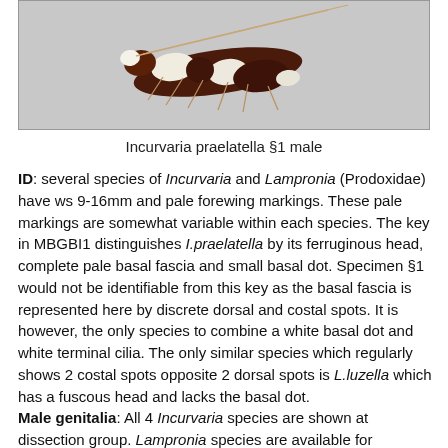[Figure (photo): Close-up photo of Incurvaria praelatella specimen §1 male, showing dark reddish-brown moth with white/cream banded markings on wings and long antennae, on white background.]
Incurvaria praelatella §1 male
ID: several species of Incurvaria and Lampronia (Prodoxidae) have ws 9-16mm and pale forewing markings. These pale markings are somewhat variable within each species. The key in MBGBI1 distinguishes I.praelatella by its ferruginous head, complete pale basal fascia and small basal dot. Specimen §1 would not be identifiable from this key as the basal fascia is represented here by discrete dorsal and costal spots. It is however, the only species to combine a white basal dot and white terminal cilia. The only similar species which regularly shows 2 costal spots opposite 2 dorsal spots is L.luzella which has a fuscous head and lacks the basal dot. Male genitalia: All 4 Incurvaria species are shown at dissection group. Lampronia species are available for comparison at the Swedish museum of natural history website: http://www2.nrm.se/en/svenska_fjarilar/l/lampronia_genitalia.html. I.praelatella is distinct in having a long curved spine at the apex of the aedeagus. No other similar species shows any such projection